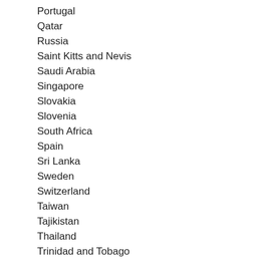Portugal
Qatar
Russia
Saint Kitts and Nevis
Saudi Arabia
Singapore
Slovakia
Slovenia
South Africa
Spain
Sri Lanka
Sweden
Switzerland
Taiwan
Tajikistan
Thailand
Trinidad and Tobago